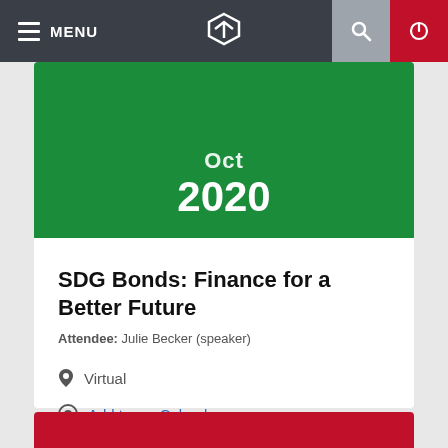MENU
Oct 2020
SDG Bonds: Finance for a Better Future
Attendee: Julie Becker (speaker)
Virtual
Add to my Calendar